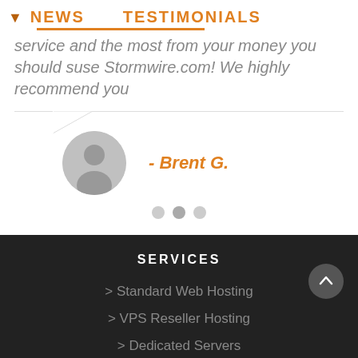NEWS   TESTIMONIALS
service and the most from your money you should suse Stormwire.com! We highly recommend you
- Brent G.
SERVICES
> Standard Web Hosting
> VPS Reseller Hosting
> Dedicated Servers
> Web Site Design